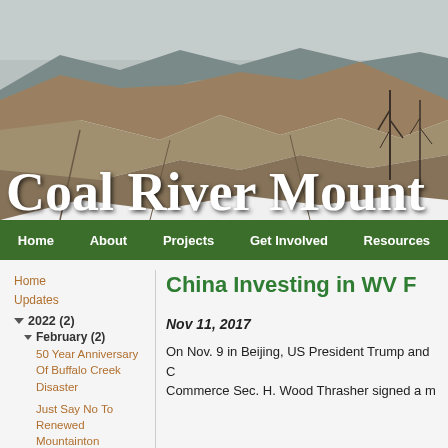[Figure (photo): Aerial/landscape photograph of a mountaintop removal coal mining site showing brown and grey rocky terrain with excavated hillsides and a river valley in the background under an overcast sky. White serif text overlay reads 'Coal River Mount']
Home  About  Projects  Get Involved  Resources
Home
Updates
2022 (2)
February (2)
50 Year Anniversary Of Buffalo Creek Disaster
Just Say No To Renewed Mountainton
China Investing in WV F
Nov 11, 2017
On Nov. 9 in Beijing, US President Trump and C Commerce Sec. H. Wood Thrasher signed a m